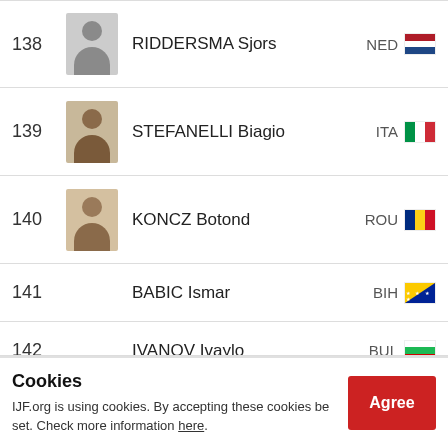| Rank | Photo | Name | Country |
| --- | --- | --- | --- |
| 138 | [photo] | RIDDERSMA Sjors | NED |
| 139 | [photo] | STEFANELLI Biagio | ITA |
| 140 | [photo] | KONCZ Botond | ROU |
| 141 |  | BABIC Ismar | BIH |
| 142 |  | IVANOV Ivaylo | BUL |
| 143 |  | MEDVES Matteo | ITA |
| 144 |  | ARIANO REBOUKA Nell honore | FRA |
| 145 |  | MAMMADOV Davud | AZE |
Cookies
IJF.org is using cookies. By accepting these cookies be set. Check more information here.